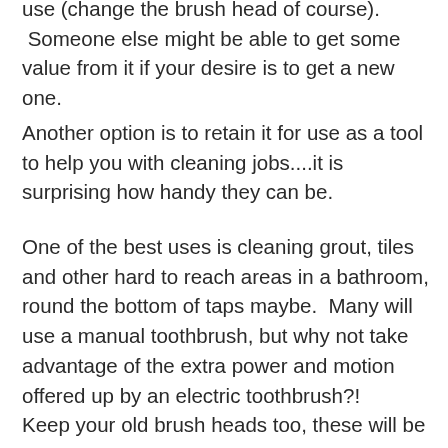use (change the brush head of course). Someone else might be able to get some value from it if your desire is to get a new one.
Another option is to retain it for use as a tool to help you with cleaning jobs....it is surprising how handy they can be.
One of the best uses is cleaning grout, tiles and other hard to reach areas in a bathroom, round the bottom of taps maybe. Many will use a manual toothbrush, but why not take advantage of the extra power and motion offered up by an electric toothbrush?!
Keep your old brush heads too, these will be